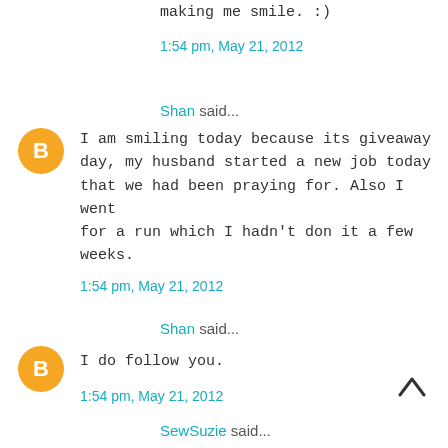making me smile. :)
1:54 pm, May 21, 2012
Shan said...
I am smiling today because its giveaway day, my husband started a new job today that we had been praying for. Also I went for a run which I hadn't don it a few weeks.
1:54 pm, May 21, 2012
Shan said...
I do follow you.
1:54 pm, May 21, 2012
SewSuzie said...